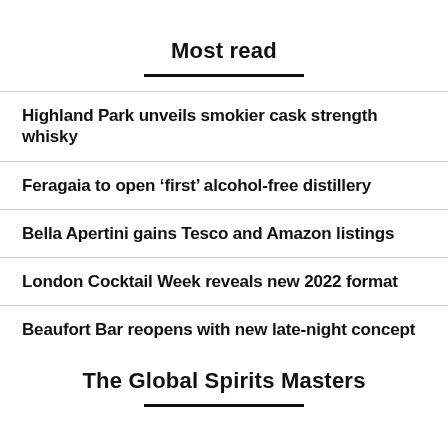Most read
Highland Park unveils smokier cask strength whisky
Feragaia to open ‘first’ alcohol-free distillery
Bella Apertini gains Tesco and Amazon listings
London Cocktail Week reveals new 2022 format
Beaufort Bar reopens with new late-night concept
The Global Spirits Masters